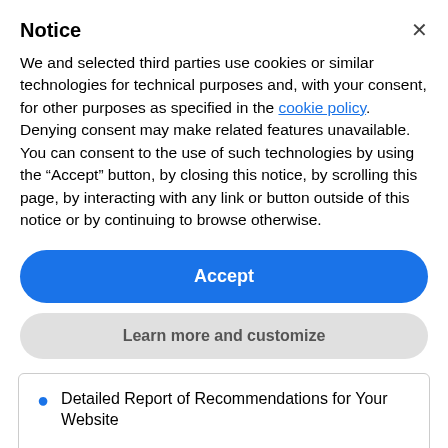Notice
We and selected third parties use cookies or similar technologies for technical purposes and, with your consent, for other purposes as specified in the cookie policy. Denying consent may make related features unavailable.
You can consent to the use of such technologies by using the “Accept” button, by closing this notice, by scrolling this page, by interacting with any link or button outside of this notice or by continuing to browse otherwise.
Accept
Learn more and customize
Detailed Report of Recommendations for Your Website
10% Off a Website Overhaul Project